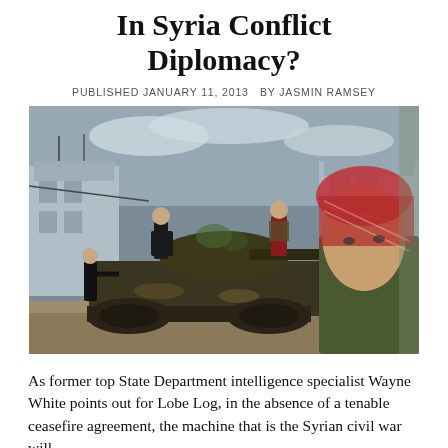In Syria Conflict Diplomacy?
PUBLISHED JANUARY 11, 2013  BY JASMIN RAMSEY
[Figure (photo): Photo of armed men around a battle-damaged tank in a Syrian urban setting. A man in a headscarf is visible in the foreground on the right.]
As former top State Department intelligence specialist Wayne White points out for Lobe Log, in the absence of a tenable ceasefire agreement, the machine that is the Syrian civil war will...